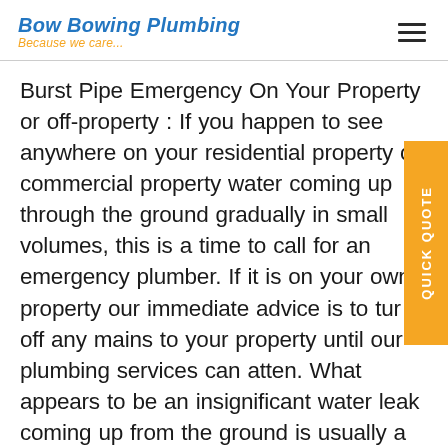Bow Bowing Plumbing — Because we care...
Burst Pipe Emergency On Your Property or off-property : If you happen to see anywhere on your residential property or commercial property water coming up through the ground gradually in small volumes, this is a time to call for an emergency plumber. If it is on your own property our immediate advice is to turn off any mains to your property until our plumbing services can atten. What appears to be an insignificant water leak coming up from the ground is usually a cracked pipe that is about to burst. This